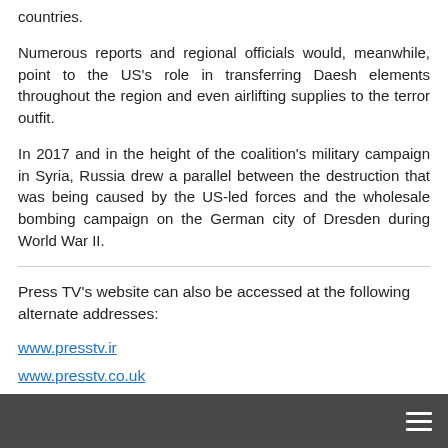countries.
Numerous reports and regional officials would, meanwhile, point to the US's role in transferring Daesh elements throughout the region and even airlifting supplies to the terror outfit.
In 2017 and in the height of the coalition's military campaign in Syria, Russia drew a parallel between the destruction that was being caused by the US-led forces and the wholesale bombing campaign on the German city of Dresden during World War II.
Press TV's website can also be accessed at the following alternate addresses:
www.presstv.ir
www.presstv.co.uk